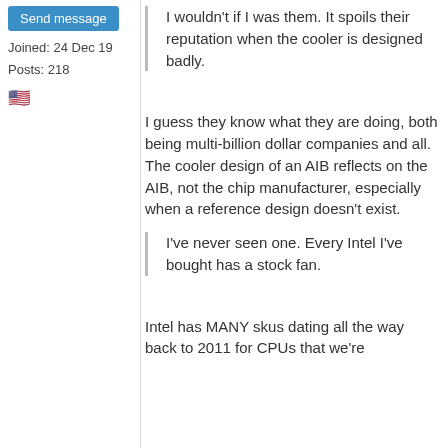Send message
Joined: 24 Dec 19
Posts: 218
[Figure (illustration): US flag emoji]
I wouldn't if I was them. It spoils their reputation when the cooler is designed badly.
I guess they know what they are doing, both being multi-billion dollar companies and all. The cooler design of an AIB reflects on the AIB, not the chip manufacturer, especially when a reference design doesn't exist.
I've never seen one. Every Intel I've bought has a stock fan.
Intel has MANY skus dating all the way back to 2011 for CPUs that we're